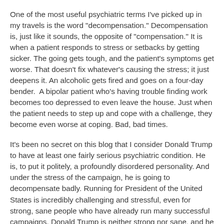One of the most useful psychiatric terms I've picked up in my travels is the word "decompensation." Decompensation is, just like it sounds, the opposite of "compensation." It is when a patient responds to stress or setbacks by getting sicker. The going gets tough, and the patient's symptoms get worse. That doesn't fix whatever's causing the stress; it just deepens it. An alcoholic gets fired and goes on a four-day bender.  A bipolar patient who's having trouble finding work becomes too depressed to even leave the house. Just when the patient needs to step up and cope with a challenge, they become even worse at coping. Bad, bad times.
It's been no secret on this blog that I consider Donald Trump to have at least one fairly serious psychiatric condition. He is, to put it politely, a profoundly disordered personality. And under the stress of the campaign, he is going to decompensate badly. Running for President of the United States is incredibly challenging and stressful, even for strong, sane people who have already run many successful campaigns. Donald Trump is neither strong nor sane, and he has never been elected to any public office in his life. Not